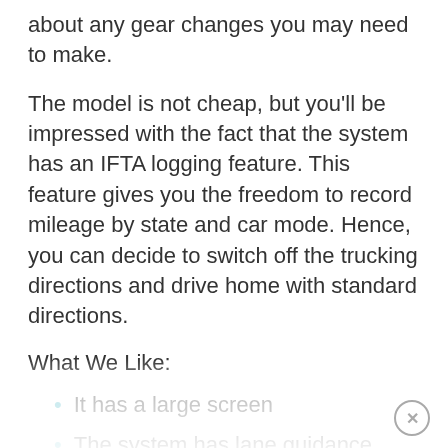about any gear changes you may need to make.
The model is not cheap, but you'll be impressed with the fact that the system has an IFTA logging feature. This feature gives you the freedom to record mileage by state and car mode. Hence, you can decide to switch off the trucking directions and drive home with standard directions.
What We Like:
It has a large screen
The system has lane guidance
It has smart functions
IFTA logging feature